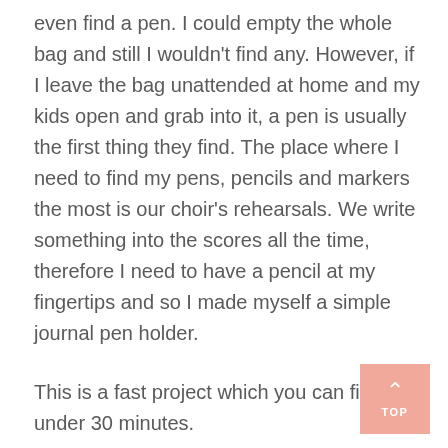even find a pen. I could empty the whole bag and still I wouldn't find any. However, if I leave the bag unattended at home and my kids open and grab into it, a pen is usually the first thing they find. The place where I need to find my pens, pencils and markers the most is our choir's rehearsals. We write something into the scores all the time, therefore I need to have a pencil at my fingertips and so I made myself a simple journal pen holder.

This is a fast project which you can finish in under 30 minutes.